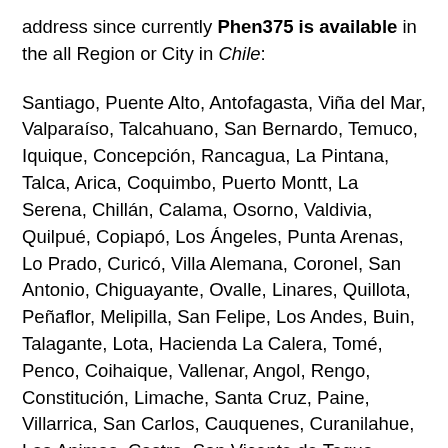address since currently Phen375 is available in the all Region or City in Chile:
Santiago, Puente Alto, Antofagasta, Viña del Mar, Valparaíso, Talcahuano, San Bernardo, Temuco, Iquique, Concepción, Rancagua, La Pintana, Talca, Arica, Coquimbo, Puerto Montt, La Serena, Chillán, Calama, Osorno, Valdivia, Quilpué, Copiapó, Los Ángeles, Punta Arenas, Lo Prado, Curicó, Villa Alemana, Coronel, San Antonio, Chiguayante, Ovalle, Linares, Quillota, Peñaflor, Melipilla, San Felipe, Los Andes, Buin, Talagante, Lota, Hacienda La Calera, Tomé, Penco, Coihaique, Vallenar, Angol, Rengo, Constitución, Limache, Santa Cruz, Paine, Villarrica, San Carlos, Cauquenes, Curanilahue, Las Animas, Castro, San Vicente de Tagua Tagua, Lampa, Molina, Ancud, Machalí, Pucón, Parral, La Unión, Puerto Varas, La Ligua, Arauco, Victoria, Tocopilla, Graneros, El Monte, Illapel, San Vicente, San Javier, Lebu, Mulchén, Puerto Quellón, Lautaro, Nacimiento, Cañete, Puerto Natales, Nueva Imperial, Cabrero, Diego de Almagro, Chicureo Abajo, Chimbarongo,